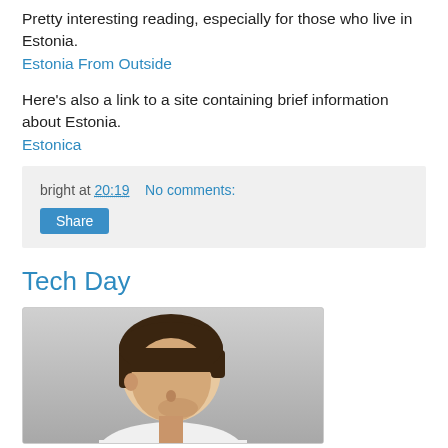Pretty interesting reading, especially for those who live in Estonia.
Estonia From Outside
Here's also a link to a site containing brief information about Estonia.
Estonica
bright at 20:19    No comments:
Share
Tech Day
[Figure (photo): A young person with dark bowl-cut hair looking downward, wearing a white shirt, photographed from above/side angle against a light grey background.]